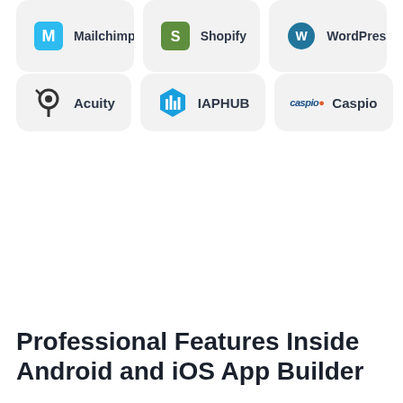[Figure (infographic): Top row of integration cards showing Mailchimp, Shopify, and WordPress logos with partial names visible (cropped at top)]
[Figure (infographic): Second row of integration cards showing Acuity, IAPHUB, and Caspio logos with names]
Professional Features Inside Android and iOS App Builder